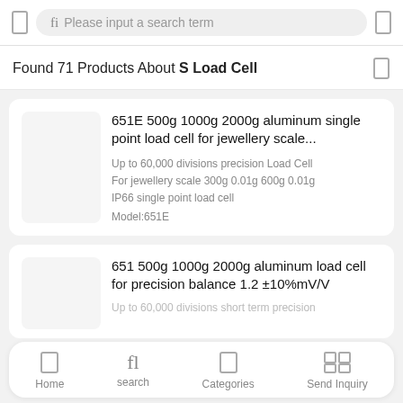Please input a search term
Found 71 Products About S Load Cell
651E 500g 1000g 2000g aluminum single point load cell for jewellery scale...
Up to 60,000 divisions precision Load Cell
For jewellery scale 300g 0.01g 600g 0.01g
IP66 single point load cell
Model:651E
651 500g 1000g 2000g aluminum load cell for precision balance 1.2 ±10%mV/V
Up to 60,000 divisions short term precision
Home  search  Categories  Send Inquiry